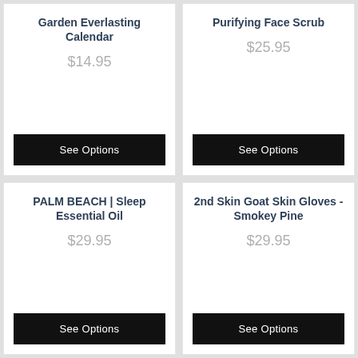Garden Everlasting Calendar
$14.95
See Options
Purifying Face Scrub
$25.95
See Options
PALM BEACH | Sleep Essential Oil
$29.95
See Options
2nd Skin Goat Skin Gloves - Smokey Pine
$29.95
See Options